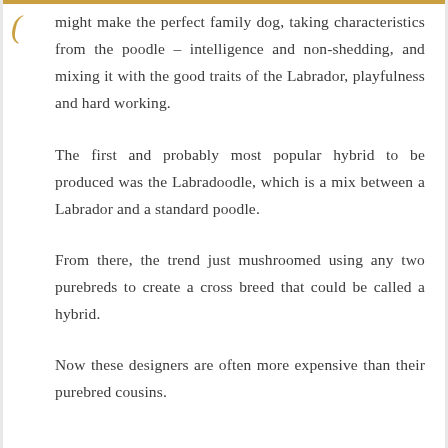might make the perfect family dog, taking characteristics from the poodle – intelligence and non-shedding, and mixing it with the good traits of the Labrador, playfulness and hard working.
The first and probably most popular hybrid to be produced was the Labradoodle, which is a mix between a Labrador and a standard poodle.
From there, the trend just mushroomed using any two purebreds to create a cross breed that could be called a hybrid.
Now these designers are often more expensive than their purebred cousins.